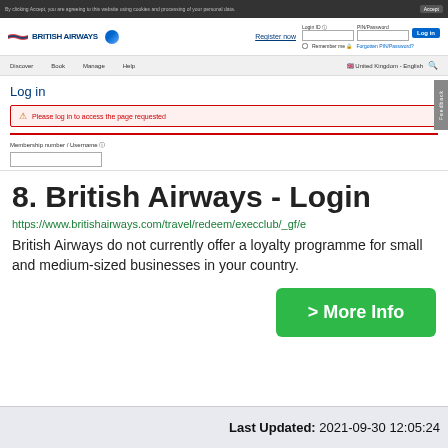[Figure (screenshot): British Airways login page screenshot showing cookie bar, navigation, logo, login form with 'Please log in to access the page requested' error message, membership number/username field and PIN/password field]
8. British Airways - Login
https://www.britishairways.com/travel/redeem/execclub/_gf/e
British Airways do not currently offer a loyalty programme for small and medium-sized businesses in your country.
> More Info
Last Updated: 2021-09-30 12:05:24